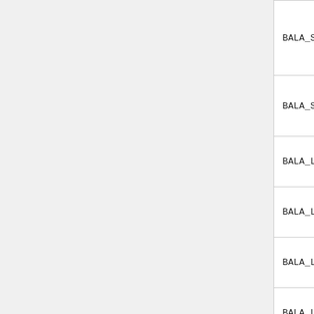| Name | Dim | Description |
| --- | --- | --- |
| BALA_SRC_PHOTON_VR | 1/1/1 | pr va re (R ro sp |
| BALA_SRC_PHOTON_TOT | 1/1/1 | To pr |
| BALA_LOSS_PHOTON_CAPT | 1/1 | Ph ca |
| BALA_LOSS_PHOTON_LEAK | 1/1 | Ph lea |
| BALA_LOSS_PHOTON_CUT | 1/1 | Ph cu |
| BALA_LOSS_PHOTON_ERR | 1/1 | Ph fai |
| BALA_LOSS_PHOTON_TOT | 1/1 | To lo |